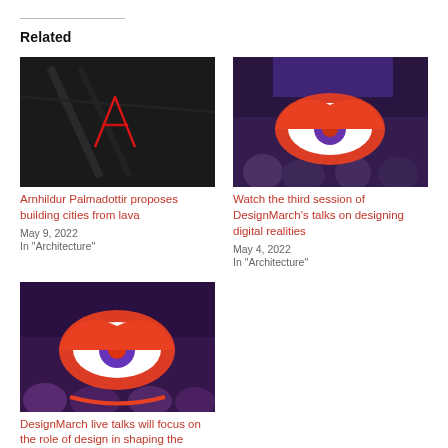Related
[Figure (photo): Dark architectural image with red neon light lines forming a letter shape]
Arnhildur Palmadottir proposes building cities from lava
May 9, 2022
In "Architecture"
[Figure (photo): Conference event with audience and large graphic eye overlay in orange/red with purple iris on screen]
Watch the third session of DesignMarch's talks on designing digital realities
May 4, 2022
In "Architecture"
[Figure (photo): Crowd at event with DesignMarch graphic eye overlay in orange/red with purple iris]
DesignMarch live talks will focus on the role of design in shaping the future